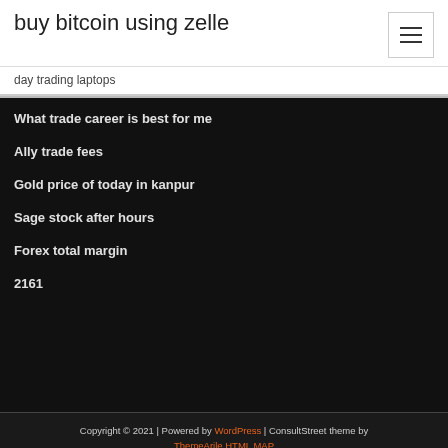buy bitcoin using zelle
day trading laptops
What trade career is best for me
Ally trade fees
Gold price of today in kanpur
Sage stock after hours
Forex total margin
2161
Copyright © 2021 | Powered by WordPress | ConsultStreet theme by ThemeArile HTML MAP